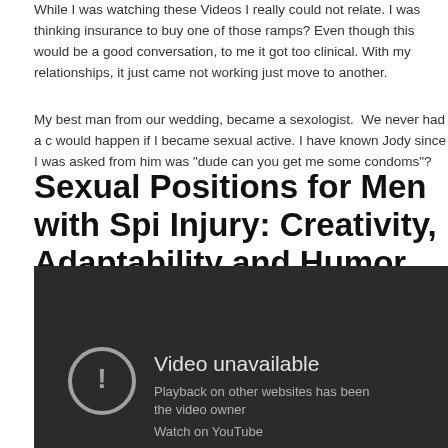While I was watching these Videos I really could not relate. I was thinking insurance to buy one of those ramps? Even though this would be a good conversation, to me it got too clinical. With my relationships, it just came not working just move to another.
My best man from our wedding, became a sexologist. We never had a conversation would happen if I became sexual active. I have known Jody since I was asked from him was "dude can you get me some condoms"?
Sexual Positions for Men with Spinal Injury: Creativity, Adaptability and Humor
[Figure (screenshot): Embedded YouTube video player showing 'Video unavailable' message with an exclamation mark icon. Text reads: 'Video unavailable', 'Playback on other websites has been disabled by the video owner', 'Watch on YouTube']